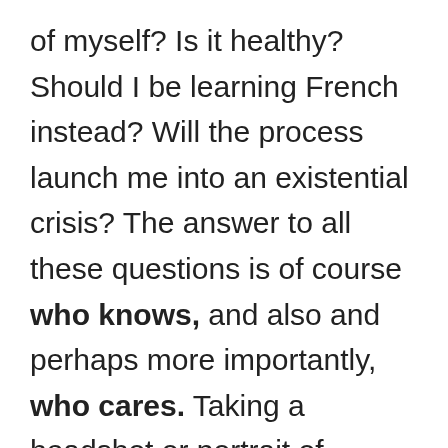of myself? Is it healthy? Should I be learning French instead? Will the process launch me into an existential crisis? The answer to all these questions is of course who knows, and also and perhaps more importantly, who cares. Taking a headshot or portrait of yourself is a really interesting project and if anything it puts you in the clients shoes for a bit and that can only be a good thing. Ive realised that